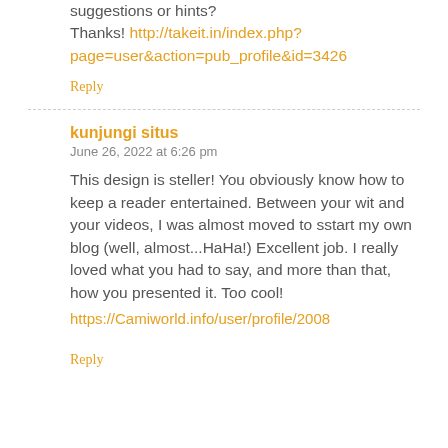suggestions or hints?
Thanks! http://takeit.in/index.php?page=user&action=pub_profile&id=3426
Reply
kunjungi situs
June 26, 2022 at 6:26 pm
This design is steller! You obviously know how to keep a reader entertained. Between your wit and your videos, I was almost moved to sstart my own blog (well, almost...HaHa!) Excellent job. I really loved what you had to say, and more than that, how you presented it. Too cool!
https://Camiworld.info/user/profile/2008
Reply